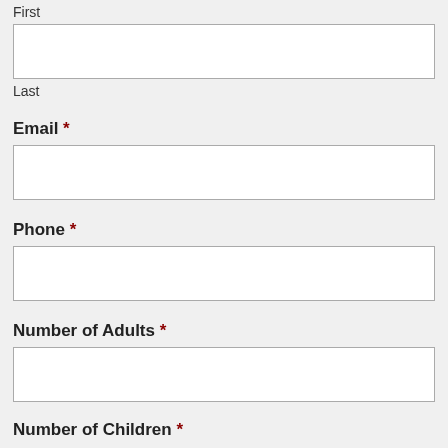First
Last
Email *
Phone *
Number of Adults *
Number of Children *